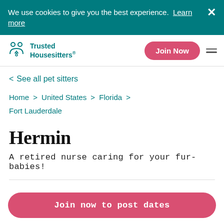We use cookies to give you the best experience. Learn more
Trusted Housesitters
< See all pet sitters
Home > United States > Florida > Fort Lauderdale
Hermin
A retired nurse caring for your fur-babies!
Join now to post dates